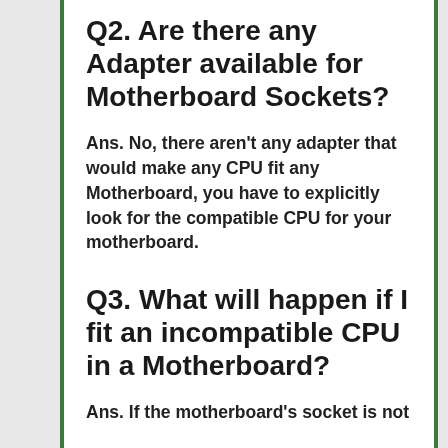Q2. Are there any Adapter available for Motherboard Sockets?
Ans. No, there aren't any adapter that would make any CPU fit any Motherboard, you have to explicitly look for the compatible CPU for your motherboard.
Q3. What will happen if I fit an incompatible CPU in a Motherboard?
Ans. If the motherboard's socket is not